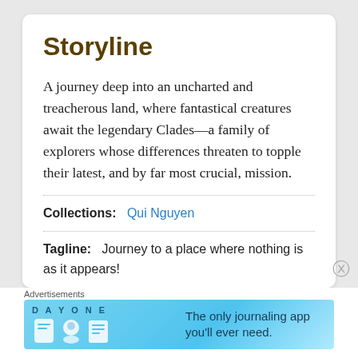Storyline
A journey deep into an uncharted and treacherous land, where fantastical creatures await the legendary Clades—a family of explorers whose differences threaten to topple their latest, and by far most crucial, mission.
Collections:  Qui Nguyen
Tagline:   Journey to a place where nothing is as it appears!
Advertisements
[Figure (infographic): Day One journaling app advertisement banner with icons and text 'The only journaling app you'll ever need.']